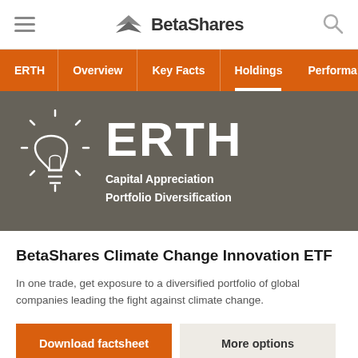BetaShares
ERTH | Overview | Key Facts | Holdings | Performance
[Figure (logo): ERTH fund hero banner with lightbulb icon, ticker ERTH, and text: Capital Appreciation Portfolio Diversification]
BetaShares Climate Change Innovation ETF
In one trade, get exposure to a diversified portfolio of global companies leading the fight against climate change.
Download factsheet | More options